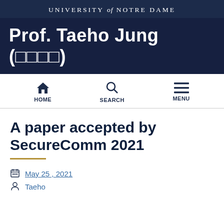UNIVERSITY of NOTRE DAME
Prof. Taeho Jung (정태호)
HOME  SEARCH  MENU
A paper accepted by SecureComm 2021
May 25, 2021
Taeho